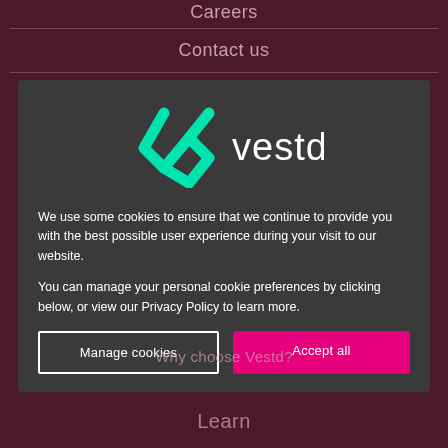Careers
Contact us
[Figure (logo): Vestd logo: teal V-heart icon followed by white text 'vestd']
We use some cookies to ensure that we continue to provide you with the best possible user experience during your visit to our website.
You can manage your personal cookie preferences by clicking below, or view our Privacy Policy to learn more.
Manage cookies
Accept all
Why choose Vestd?
Learn